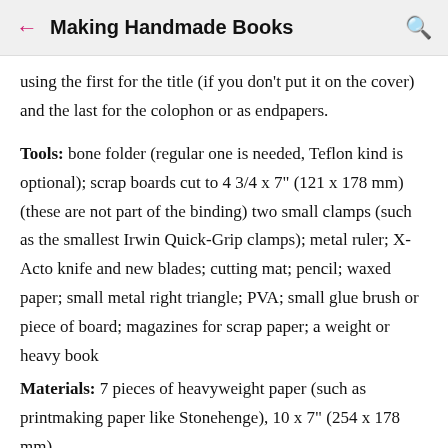Making Handmade Books
using the first for the title (if you don't put it on the cover) and the last for the colophon or as endpapers.
Tools: bone folder (regular one is needed, Teflon kind is optional); scrap boards cut to 4 3/4 x 7" (121 x 178 mm) (these are not part of the binding) two small clamps (such as the smallest Irwin Quick-Grip clamps); metal ruler; X-Acto knife and new blades; cutting mat; pencil; waxed paper; small metal right triangle; PVA; small glue brush or piece of board; magazines for scrap paper; a weight or heavy book
Materials: 7 pieces of heavyweight paper (such as printmaking paper like Stonehenge), 10 x 7" (254 x 178 mm)